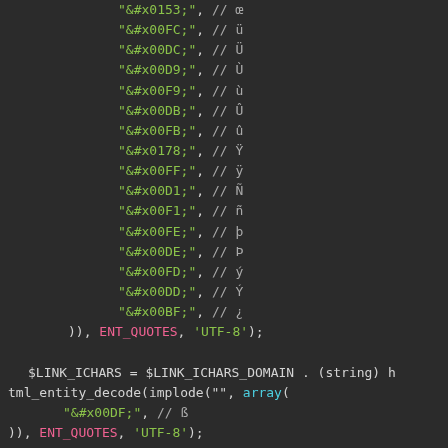Code snippet showing PHP html_entity_decode with array of HTML entities including &#x0153;, &#x00FC;, &#x00DC;, &#x00D9;, &#x00F9;, &#x00DB;, &#x00FB;, &#x0178;, &#x00FF;, &#x00D1;, &#x00F1;, &#x00FE;, &#x00DE;, &#x00FD;, &#x00DD;, &#x00BF; with ENT_QUOTES, UTF-8 and $LINK_ICHARS = $LINK_ICHARS_DOMAIN . (string) html_entity_decode(implode("", array( "&#x00DF;", // ß )), ENT_QUOTES, 'UTF-8');